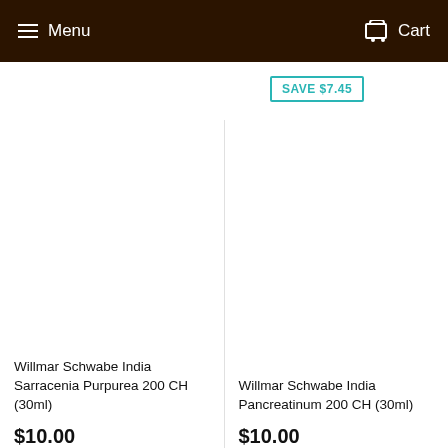Menu  Cart
SAVE $7.45
Willmar Schwabe India Sarracenia Purpurea 200 CH (30ml)
$10.00
Willmar Schwabe India Pancreatinum 200 CH (30ml)
$10.00